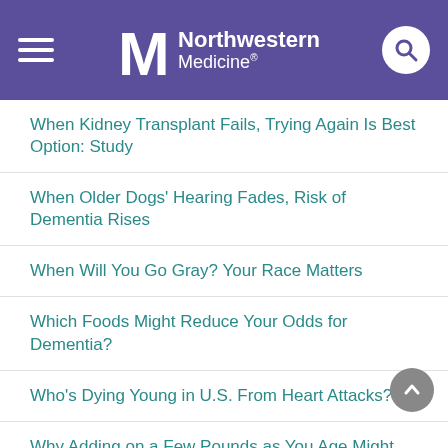Northwestern Medicine
When Kidney Transplant Fails, Trying Again Is Best Option: Study
When Older Dogs' Hearing Fades, Risk of Dementia Rises
When Will You Go Gray? Your Race Matters
Which Foods Might Reduce Your Odds for Dementia?
Who's Dying Young in U.S. From Heart Attacks?
Why Adding on a Few Pounds as You Age Might Be Good for You
Why Don't People Have Memories of Their Infancy?
Why Music at Bedtime Might Not Be a Great Idea